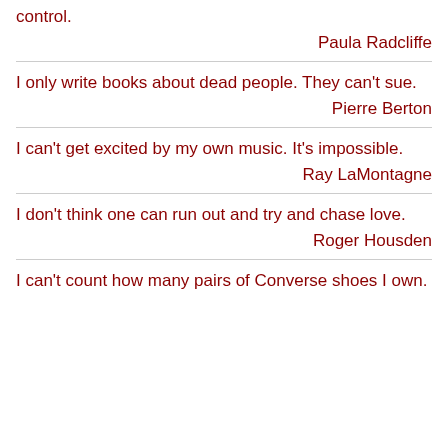control.
Paula Radcliffe
I only write books about dead people. They can't sue.
Pierre Berton
I can't get excited by my own music. It's impossible.
Ray LaMontagne
I don't think one can run out and try and chase love.
Roger Housden
I can't count how many pairs of Converse shoes I own.